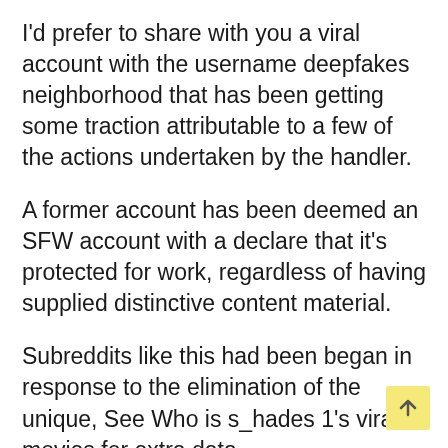I'd prefer to share with you a viral account with the username deepfakes neighborhood that has been getting some traction attributable to a few of the actions undertaken by the handler.
A former account has been deemed an SFW account with a declare that it's protected for work, regardless of having supplied distinctive content material.
Subreddits like this had been began in response to the elimination of the unique, See Who is s_hades 1's viral movies for extra data.
On Monday thirteenth June, the distinguished person started archiving some pictures and